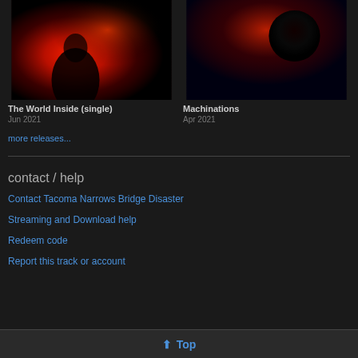[Figure (photo): Album cover for The World Inside (single) — red glowing light silhouette]
[Figure (photo): Album cover for Machinations — dark red sphere/planet on dark background]
The World Inside (single)
Jun 2021
Machinations
Apr 2021
more releases...
contact / help
Contact Tacoma Narrows Bridge Disaster
Streaming and Download help
Redeem code
Report this track or account
⬆ Top